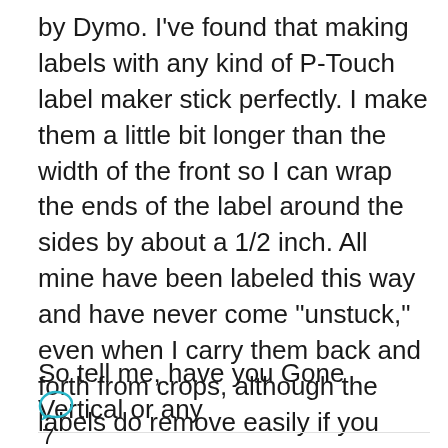by Dymo. I've found that making labels with any kind of P-Touch label maker stick perfectly. I make them a little bit longer than the width of the front so I can wrap the ends of the label around the sides by about a 1/2 inch. All mine have been labeled this way and have never come "unstuck," even when I carry them back and forth from crops, although the labels do remove easily if you want to re-label them.
So tell me, have you Gone Vertical or any
7 Comments